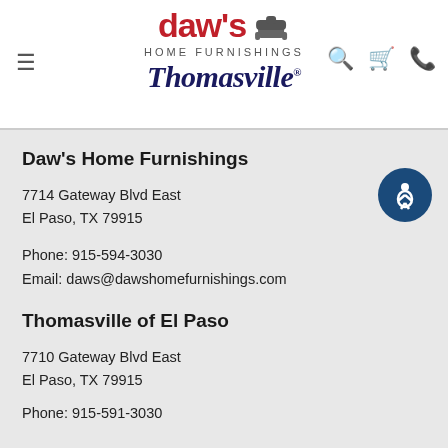[Figure (logo): Daw's Home Furnishings logo with red bold 'daw's' text, gray armchair icon, and 'HOME FURNISHINGS' subtitle, plus Thomasville script logo below]
Daw's Home Furnishings
7714 Gateway Blvd East
El Paso, TX 79915
Phone: 915-594-3030
Email: daws@dawshomefurnishings.com
Thomasville of El Paso
7710 Gateway Blvd East
El Paso, TX 79915
Phone: 915-591-3030